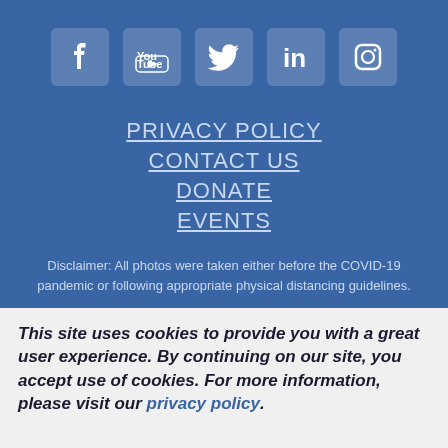[Figure (logo): Social media icons: Facebook, YouTube, Twitter, LinkedIn, Instagram — white icons on semi-transparent rounded square backgrounds on blue]
PRIVACY POLICY
CONTACT US
DONATE
EVENTS
Disclaimer: All photos were taken either before the COVID-19 pandemic or following appropriate physical distancing guidelines.
This site uses cookies to provide you with a great user experience. By continuing on our site, you accept use of cookies. For more information, please visit our privacy policy.